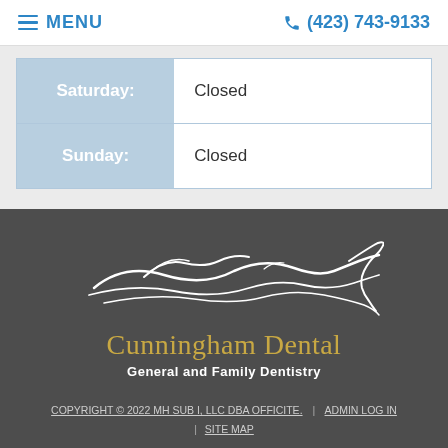≡ MENU  | (423) 743-9133
| Day | Hours |
| --- | --- |
| Saturday: | Closed |
| Sunday: | Closed |
[Figure (logo): Cunningham Dental logo with swooping bird/wave line illustration above the text 'Cunningham Dental' and subtitle 'General and Family Dentistry']
COPYRIGHT © 2022 MH SUB I, LLC DBA OFFICITE. | ADMIN LOG IN | SITE MAP